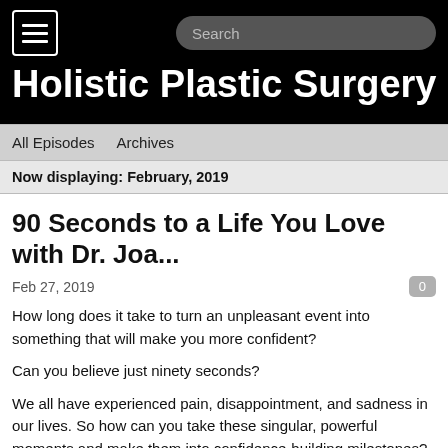Holistic Plastic Surgery Show
All Episodes   Archives
Now displaying: February, 2019
90 Seconds to a Life You Love with Dr. Joa...
Feb 27, 2019
How long does it take to turn an unpleasant event into something that will make you more confident?

Can you believe just ninety seconds?

We all have experienced pain, disappointment, and sadness in our lives. So how can you take these singular, powerful moments and make them into confidence-building milestones?

My guest this week is a psychologist who teaches her clients exactly how to